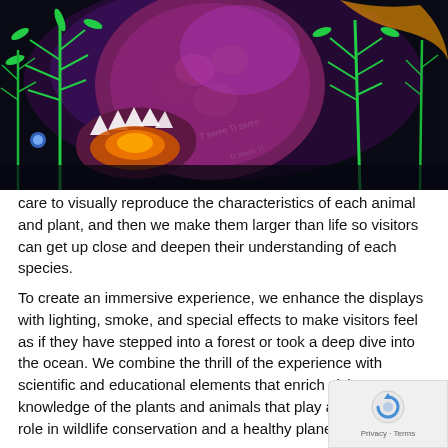[Figure (photo): A night-time display of illuminated animal and plant sculptures. A large dragon or dinosaur-like creature with open jaws and glowing teeth dominates the center, flanked by bright green glowing plant/fern sculptures on both sides. The background is dark with purple and blue lighting effects.]
care to visually reproduce the characteristics of each animal and plant, and then we make them larger than life so visitors can get up close and deepen their understanding of each species.
To create an immersive experience, we enhance the displays with lighting, smoke, and special effects to make visitors feel as if they have stepped into a forest or took a deep dive into the ocean. We combine the thrill of the experience with scientific and educational elements that enrich visitors' knowledge of the plants and animals that play an important role in wildlife conservation and a healthy planet.
While our talented team can create customized experiences that amp organizations' messages of conservation, we also practice it as a com